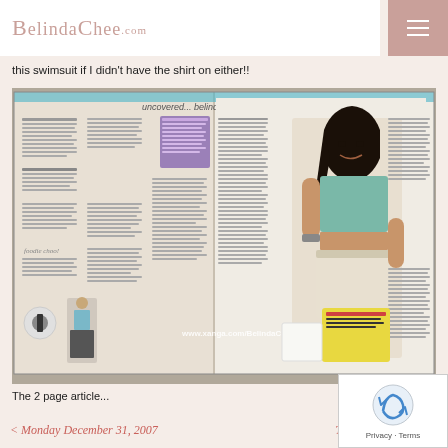BelindaChee.com
this swimsuit if I didn't have the shirt on either!!
[Figure (photo): A photograph of an open magazine spread showing an article titled 'uncovered... belinda chee' with a photo of a young Asian woman in a teal tube top and white shorts. The bottom of the image shows 'www.xanga.com/BelindaC'. Multiple columns of text and smaller images are visible on the magazine pages.]
The 2 page article...
< Monday December 31, 2007    Thursday January 10